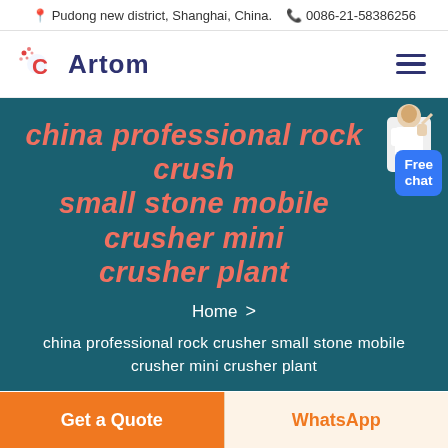Pudong new district, Shanghai, China.  0086-21-58386256
[Figure (logo): Artom company logo with red circular icon and dark blue 'Artom' text, plus hamburger menu icon]
china professional rock crusher small stone mobile crusher mini crusher plant
Home > china professional rock crusher small stone mobile crusher mini crusher plant
Get a Quote
WhatsApp